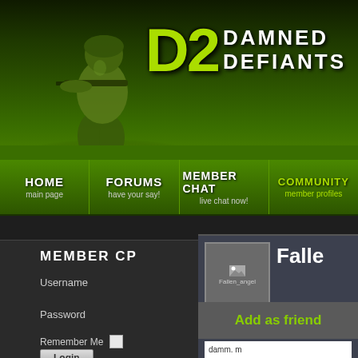[Figure (screenshot): D2 Damned Defiants gaming website header banner with soldier silhouette on dark green gradient background and D2 logo with 'DAMNED DEFIANTS' text]
HOME main page | FORUMS have your say! | MEMBER CHAT live chat now! | COMMUNITY member profiles
MEMBER CP
Username
Password
Remember Me
Login
[Figure (screenshot): Profile card for Fallen_angel showing avatar image, name 'Falle' (truncated), profile links 'My Profile' and 'Video', a comment box with 'damm. m... whisky i... kewl to u...' and an 'Add as friend' button]